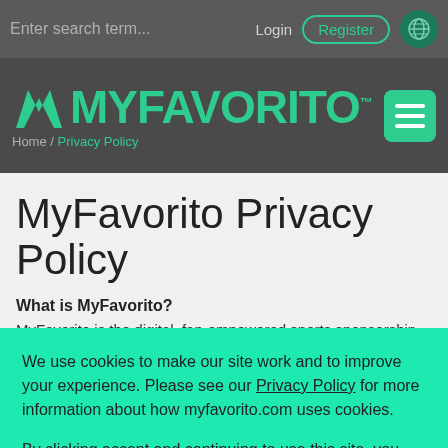Enter search term... Login Register [globe icon]
[Figure (logo): MyFavorito logo with teal chevron M icon and MYFAVORITO text in teal, with TM mark. Hamburger menu button top right. Breadcrumb: Home / Privacy Policy]
MyFavorito Privacy Policy
What is MyFavorito?
MyFavorito is the digital, fan-empowered sports sponsorship platform that turns fan love into real money. With a radically different sponsorship model, MyFavorito builds the missing link in
We use cookies to make our site work and to improve your experience. Please see our Privacy Policy for more information about how myfavorito.com uses cookies.

By clicking accept and continuing to use this site, you agree to our use of cookies.
Accept all